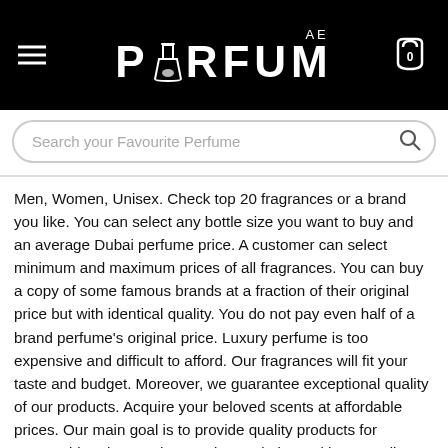PARFUM AE
Men, Women, Unisex. Check top 20 fragrances or a brand you like. You can select any bottle size you want to buy and an average Dubai perfume price. A customer can select minimum and maximum prices of all fragrances. You can buy a copy of some famous brands at a fraction of their original price but with identical quality. You do not pay even half of a brand perfume's original price. Luxury perfume is too expensive and difficult to afford. Our fragrances will fit your taste and budget. Moreover, we guarantee exceptional quality of our products. Acquire your beloved scents at affordable prices. Our main goal is to provide quality products for reasonable prices and create long-relations with every client. Our team of experts monitors a market and researches every new fragrance. We provide you with new solutions at low prices. On our website, you can find a multitude of fragrances categories daily for all